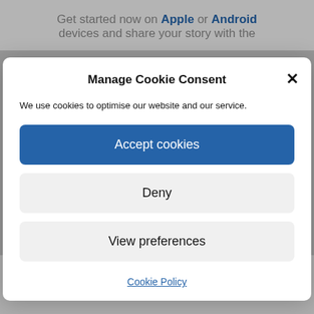Get started now on Apple or Android devices and share your story with the
Manage Cookie Consent
We use cookies to optimise our website and our service.
Accept cookies
Deny
View preferences
Cookie Policy
Couch to 5k builds you up with time and effort, so you'll always be impressed with what you can do.